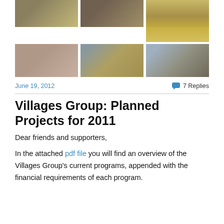[Figure (photo): Top row of three photographs: left shows person working near equipment, center shows aerial/field scene, right shows ruins/landscape (taller, two-part)]
[Figure (photo): Second row of three photographs: left shows close-up of cracked/textured surface, center shows solar panels in desert with workers, right shows rocky/rubble landscape]
June 19, 2012
7 Replies
Villages Group: Planned Projects for 2011
Dear friends and supporters,
In the attached pdf file you will find an overview of the Villages Group's current programs, appended with the financial requirements of each program.